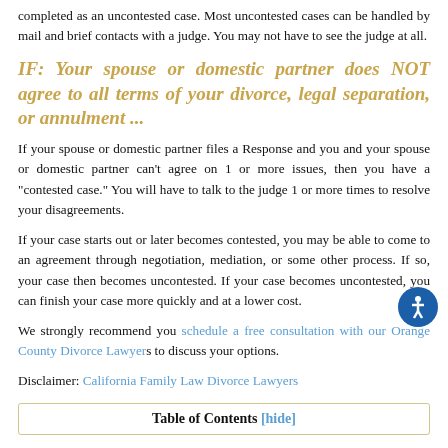completed as an uncontested case. Most uncontested cases can be handled by mail and brief contacts with a judge. You may not have to see the judge at all.
IF: Your spouse or domestic partner does NOT agree to all terms of your divorce, legal separation, or annulment ...
If your spouse or domestic partner files a Response and you and your spouse or domestic partner can't agree on 1 or more issues, then you have a "contested case." You will have to talk to the judge 1 or more times to resolve your disagreements.
If your case starts out or later becomes contested, you may be able to come to an agreement through negotiation, mediation, or some other process. If so, your case then becomes uncontested. If your case becomes uncontested, you can finish your case more quickly and at a lower cost.
We strongly recommend you schedule a free consultation with our Orange County Divorce Lawyers to discuss your options.
Disclaimer: California Family Law Divorce Lawyers
| Table of Contents [hide] |
| --- |